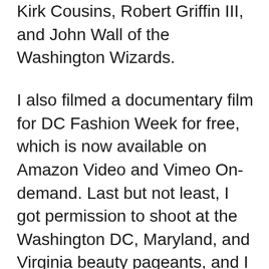Kirk Cousins, Robert Griffin III, and John Wall of the Washington Wizards.
I also filmed a documentary film for DC Fashion Week for free, which is now available on Amazon Video and Vimeo On-demand. Last but not least, I got permission to shoot at the Washington DC, Maryland, and Virginia beauty pageants, and I eventually became the official videographer of Miss DC. All work I did for free to build my portfolio and get social proof.